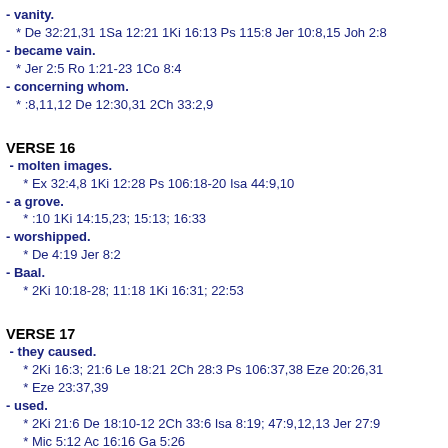- vanity.
* De 32:21,31 1Sa 12:21 1Ki 16:13 Ps 115:8 Jer 10:8,15 Joh 2:8
- became vain.
* Jer 2:5 Ro 1:21-23 1Co 8:4
- concerning whom.
* :8,11,12 De 12:30,31 2Ch 33:2,9
VERSE 16
- molten images.
* Ex 32:4,8 1Ki 12:28 Ps 106:18-20 Isa 44:9,10
- a grove.
* :10 1Ki 14:15,23; 15:13; 16:33
- worshipped.
* De 4:19 Jer 8:2
- Baal.
* 2Ki 10:18-28; 11:18 1Ki 16:31; 22:53
VERSE 17
- they caused.
* 2Ki 16:3; 21:6 Le 18:21 2Ch 28:3 Ps 106:37,38 Eze 20:26,31
* Eze 23:37,39
- used.
* 2Ki 21:6 De 18:10-12 2Ch 33:6 Isa 8:19; 47:9,12,13 Jer 27:9
* Mic 5:12 Ac 16:16 Ga 5:26
- sold.
* 1Ki 21:20,25 Isa 50:1
- in the sight.
* :11; 21:6